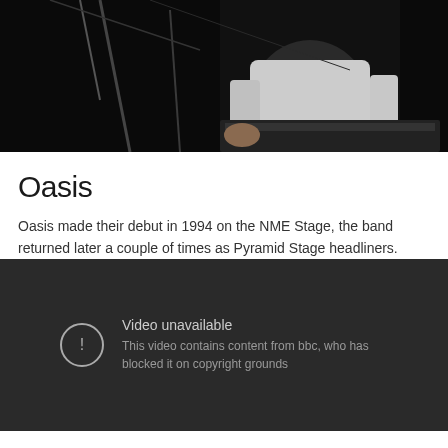[Figure (photo): Dark stage concert photo showing a performer in a white shirt with microphone stands and stage equipment visible against a black background]
Oasis
Oasis made their debut in 1994 on the NME Stage, the band returned later a couple of times as Pyramid Stage headliners.
[Figure (screenshot): YouTube video unavailable error screen with dark background. Shows exclamation mark icon and text: 'Video unavailable. This video contains content from bbc, who has blocked it on copyright grounds']